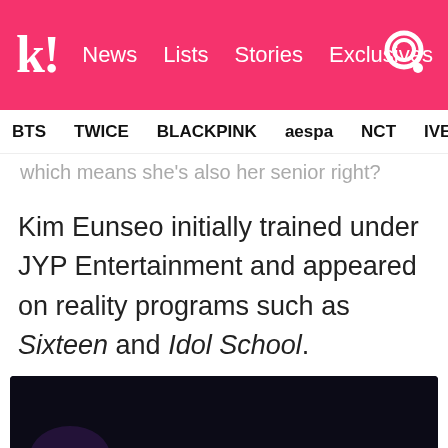k! News Lists Stories Exclusives
BTS TWICE BLACKPINK aespa NCT IVE SHINE
which means she's also her senior right?
Kim Eunseo initially trained under JYP Entertainment and appeared on reality programs such as Sixteen and Idol School.
[Figure (photo): Photo of a young woman (Kim Eunseo) on a dark stage with purple lighting visible in background, she has blonde/light brown hair.]